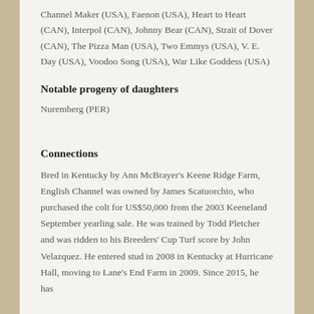Channel Maker (USA), Faenon (USA), Heart to Heart (CAN), Interpol (CAN), Johnny Bear (CAN), Strait of Dover (CAN), The Pizza Man (USA), Two Emmys (USA), V. E. Day (USA), Voodoo Song (USA), War Like Goddess (USA)
Notable progeny of daughters
Nuremberg (PER)
Connections
Bred in Kentucky by Ann McBrayer's Keene Ridge Farm, English Channel was owned by James Scatuorchio, who purchased the colt for US$50,000 from the 2003 Keeneland September yearling sale. He was trained by Todd Pletcher and was ridden to his Breeders' Cup Turf score by John Velazquez. He entered stud in 2008 in Kentucky at Hurricane Hall, moving to Lane's End Farm in 2009. Since 2015, he has